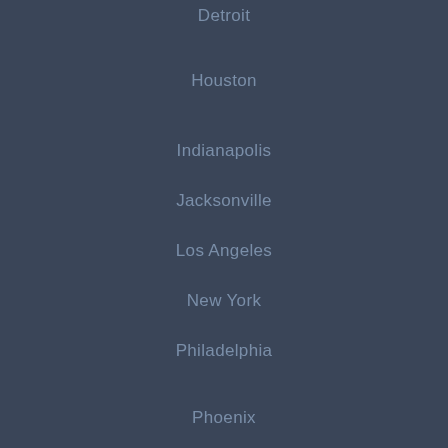Detroit
Houston
Indianapolis
Jacksonville
Los Angeles
New York
Philadelphia
Phoenix
San Antonio
San Diego
San Francisco
San Jose